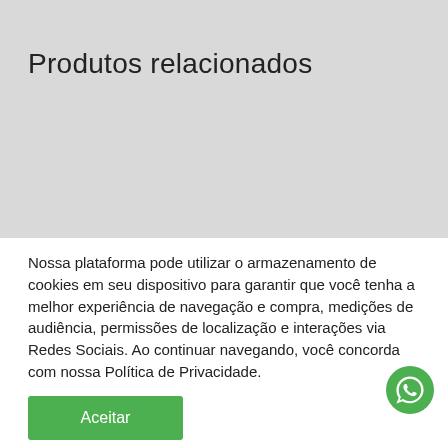Produtos relacionados
Nossa plataforma pode utilizar o armazenamento de cookies em seu dispositivo para garantir que você tenha a melhor experiência de navegação e compra, medições de audiência, permissões de localização e interações via Redes Sociais. Ao continuar navegando, você concorda com nossa Política de Privacidade.
Aceitar